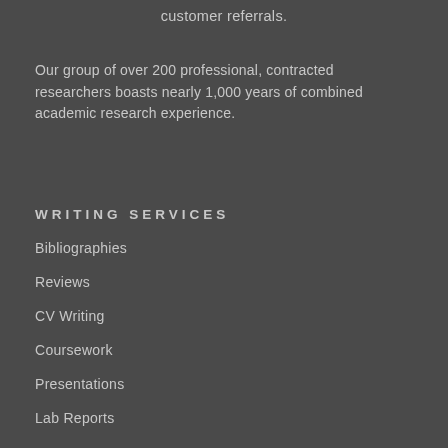customer referrals.
Our group of over 200 professional, contracted researchers boasts nearly 1,000 years of combined academic research experience.
WRITING SERVICES
Bibliographies
Reviews
CV Writing
Coursework
Presentations
Lab Reports